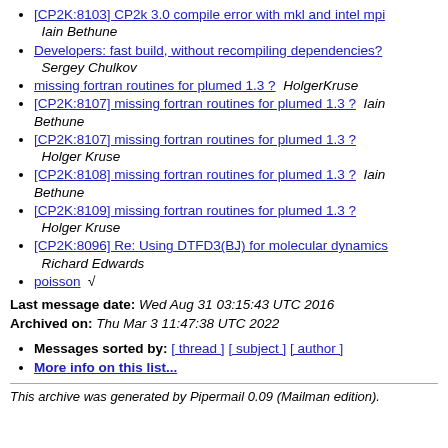[CP2K:8103] CP2k 3.0 compile error with mkl and intel mpi  Iain Bethune
Developers: fast build, without recompiling dependencies?  Sergey Chulkov
missing fortran routines for plumed 1.3 ?  HolgerKruse
[CP2K:8107] missing fortran routines for plumed 1.3 ?  Iain Bethune
[CP2K:8107] missing fortran routines for plumed 1.3 ?  Holger Kruse
[CP2K:8108] missing fortran routines for plumed 1.3 ?  Iain Bethune
[CP2K:8109] missing fortran routines for plumed 1.3 ?  Holger Kruse
[CP2K:8096] Re: Using DTFD3(BJ) for molecular dynamics  Richard Edwards
poisson  √
Last message date: Wed Aug 31 03:15:43 UTC 2016
Archived on: Thu Mar 3 11:47:38 UTC 2022
Messages sorted by: [ thread ] [ subject ] [ author ]
More info on this list...
This archive was generated by Pipermail 0.09 (Mailman edition).